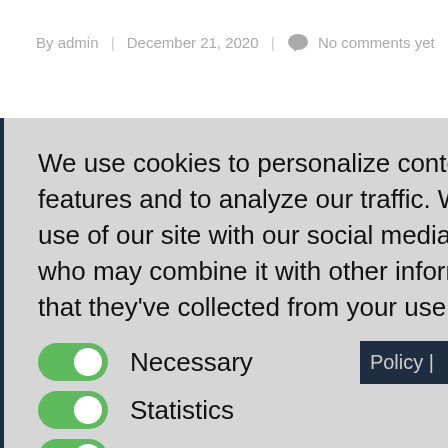By admin | December 21, 2020 | No comments yet
We use cookies to personalize content and ads, to provide social media features and to analyze our traffic. We also share information about your use of our site with our social media, advertising and analytics partners who may combine it with other information that you've provided to them or that they've collected from your use of their services. Privacy Policy
Necessary
Statistics
Marketing
Save Settings  Accept all cookies